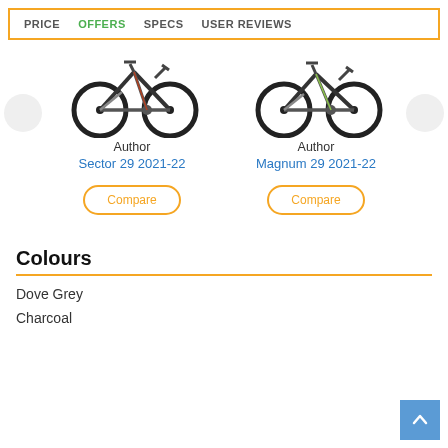PRICE  OFFERS  SPECS  USER REVIEWS
[Figure (illustration): Mountain bike image for Author Sector 29 2021-22]
Author
Sector 29 2021-22
[Figure (illustration): Mountain bike image for Author Magnum 29 2021-22]
Author
Magnum 29 2021-22
Colours
Dove Grey
Charcoal